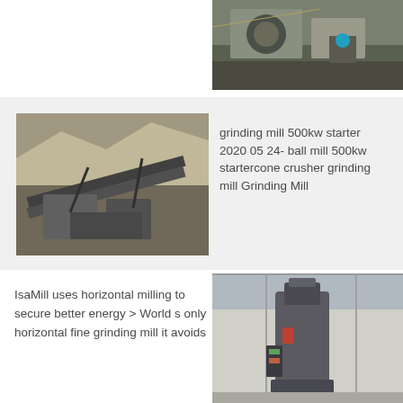[Figure (photo): Industrial mining/processing equipment, conveyor and crusher machinery, outdoor setting]
[Figure (photo): Aerial view of open-pit mining site with conveyor belts and crushing equipment]
grinding mill 500kw starter 2020 05 24- ball mill 500kw startercone crusher grinding mill Grinding Mill
IsaMill uses horizontal milling to secure better energy > World s only horizontal fine grinding mill it avoids
[Figure (photo): Industrial vertical grinding mill machine inside a factory building]